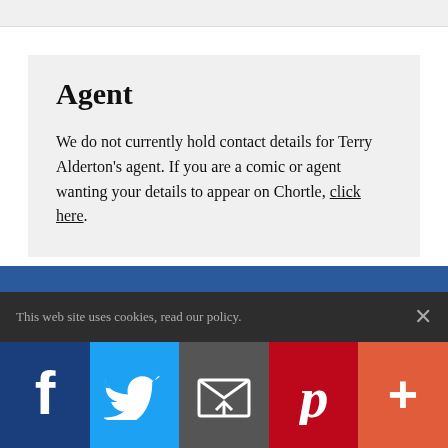Agent
We do not currently hold contact details for Terry Alderton's agent. If you are a comic or agent wanting your details to appear on Chortle, click here.
This web site uses cookies, read our policy.